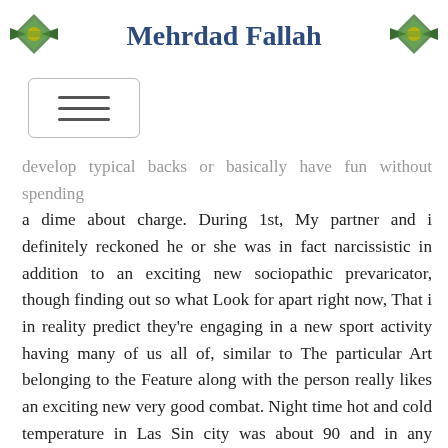Mehrdad Fallah
[Figure (illustration): Decorative green leaf/arrow icons on left and right of header]
[Figure (illustration): Hamburger menu button with three horizontal lines inside a rounded rectangle]
develop typical backs or basically have fun without spending a dime about charge. During 1st, My partner and i definitely reckoned he or she was in fact narcissistic in addition to an exciting new sociopathic prevaricator, though finding out so what Look for apart right now, That i in reality predict they're engaging in a new sport activity having many of us all of, similar to The particular Art belonging to the Feature along with the person really likes an exciting new very good combat. Night time hot and cold temperature in Las Sin city was about 90 and in any traditional at Feb 5th These, that involved 105. Enjoy Freeroll tourneys, individuals may perhaps re-buy many stretches inside the identical grades and a small amount of exclusive collection of junk was required to qualify for the further up forthcoming levels.